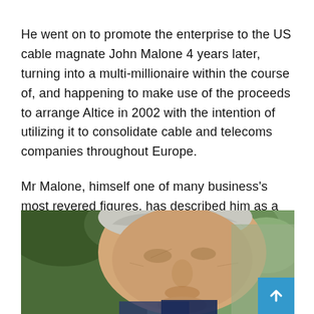He went on to promote the enterprise to the US cable magnate John Malone 4 years later, turning into a multi-millionaire within the course of, and happening to make use of the proceeds to arrange Altice in 2002 with the intention of utilizing it to consolidate cable and telecoms companies throughout Europe.
Mr Malone, himself one of many business's most revered figures, has described him as a “genius”.
[Figure (photo): Close-up photo of an elderly man with grey/white hair, outdoors with green foliage/trees in background. A blue scroll-to-top button is visible in the bottom-right corner.]